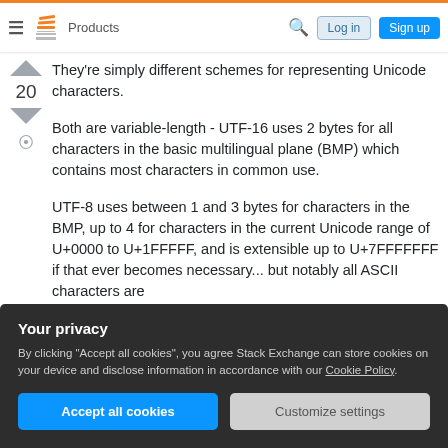Stack Overflow — Products | Log in | Sign up
They're simply different schemes for representing Unicode characters.
Both are variable-length - UTF-16 uses 2 bytes for all characters in the basic multilingual plane (BMP) which contains most characters in common use.
UTF-8 uses between 1 and 3 bytes for characters in the BMP, up to 4 for characters in the current Unicode range of U+0000 to U+1FFFFF, and is extensible up to U+7FFFFFFF if that ever becomes necessary... but notably all ASCII characters are
Your privacy
By clicking "Accept all cookies", you agree Stack Exchange can store cookies on your device and disclose information in accordance with our Cookie Policy.
Accept all cookies   Customize settings